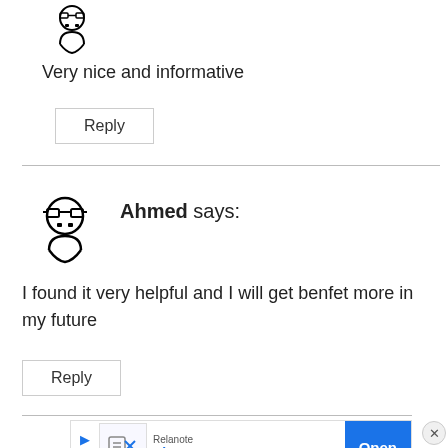[Figure (illustration): Small avatar icon of a person with glasses]
Very nice and informative
Reply
Ahmed says:
[Figure (illustration): Larger avatar icon of a person with glasses]
I found it very helpful and I will get benfet more in my future
Reply
[Figure (infographic): Relanote advertisement banner with Sign Up For Free text and Open button]